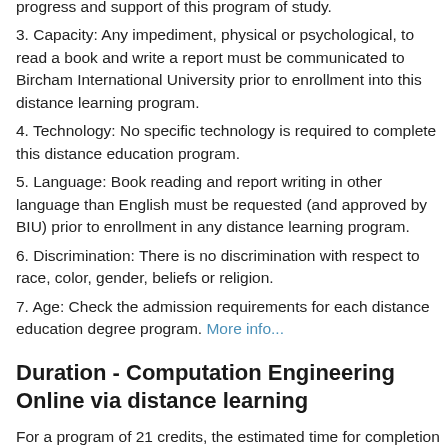3. Capacity: Any impediment, physical or psychological, to read a book and write a report must be communicated to Bircham International University prior to enrollment into this distance learning program.
4. Technology: No specific technology is required to complete this distance education program.
5. Language: Book reading and report writing in other language than English must be requested (and approved by BIU) prior to enrollment in any distance learning program.
6. Discrimination: There is no discrimination with respect to race, color, gender, beliefs or religion.
7. Age: Check the admission requirements for each distance education degree program. More info...
Duration - Computation Engineering Online via distance learning
For a program of 21 credits, the estimated time for completion is 21 weeks. For 45 credits, the estimated time for completion will be 45 weeks, and so on. Calculations are approximate. The length of each distance learning degree program is calculated based on an average